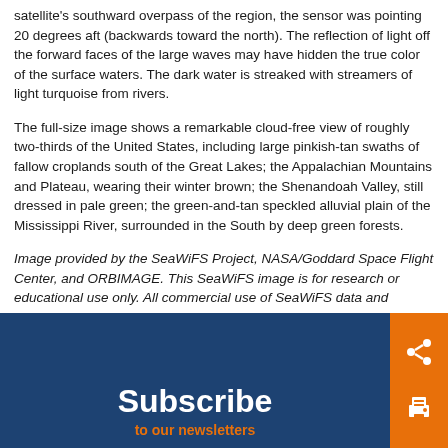satellite's southward overpass of the region, the sensor was pointing 20 degrees aft (backwards toward the north). The reflection of light off the forward faces of the large waves may have hidden the true color of the surface waters. The dark water is streaked with streamers of light turquoise from rivers.
The full-size image shows a remarkable cloud-free view of roughly two-thirds of the United States, including large pinkish-tan swaths of fallow croplands south of the Great Lakes; the Appalachian Mountains and Plateau, wearing their winter brown; the Shenandoah Valley, still dressed in pale green; the green-and-tan speckled alluvial plain of the Mississippi River, surrounded in the South by deep green forests.
Image provided by the SeaWiFS Project, NASA/Goddard Space Flight Center, and ORBIMAGE. This SeaWiFS image is for research or educational use only. All commercial use of SeaWiFS data and imagery must be coordinated with ORBIMAGE.
[Figure (other): Dark blue footer bar with Subscribe heading in white and 'to our newsletters' in orange, plus orange sidebar with share and print icons]